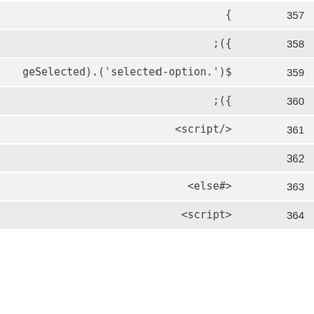| code | line |
| --- | --- |
| { | 357 |
| ;({ | 358 |
| geSelected).('selected-option.')$ | 359 |
| ;({ | 360 |
| <script/> | 361 |
|  | 362 |
| <else#> | 363 |
| <script> | 364 |